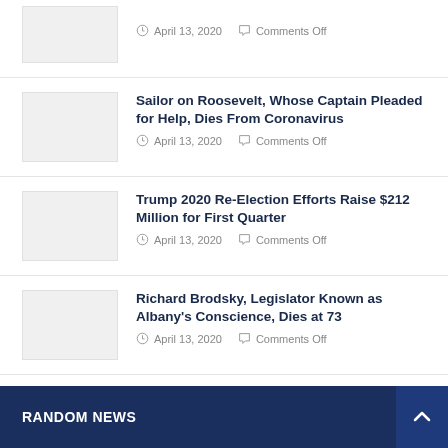[Figure (photo): Thumbnail image placeholder (top partial article)]
April 13, 2020   Comments Off
[Figure (photo): Thumbnail image placeholder for Roosevelt sailor article]
Sailor on Roosevelt, Whose Captain Pleaded for Help, Dies From Coronavirus
April 13, 2020   Comments Off
[Figure (photo): Thumbnail image placeholder for Trump fundraising article]
Trump 2020 Re-Election Efforts Raise $212 Million for First Quarter
April 13, 2020   Comments Off
[Figure (photo): Thumbnail image placeholder for Brodsky article]
Richard Brodsky, Legislator Known as Albany's Conscience, Dies at 73
April 13, 2020   Comments Off
RANDOM NEWS